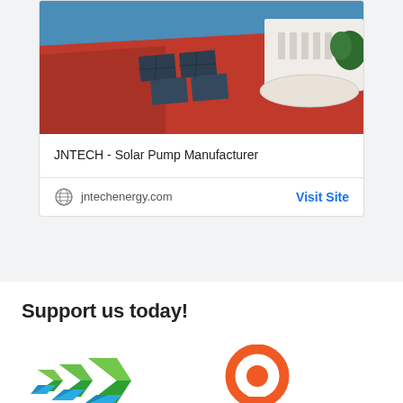[Figure (photo): Aerial view of a red-roofed building with solar panels installed on the roof, with sea and a white villa visible in the background.]
JNTECH - Solar Pump Manufacturer
jntechenergy.com  Visit Site
Support us today!
[Figure (logo): Inoreader logo — geometric arrow chevron shapes in green and blue teal colors.]
[Figure (logo): Picoclick logo — orange circle with a P pin/location marker shape.]